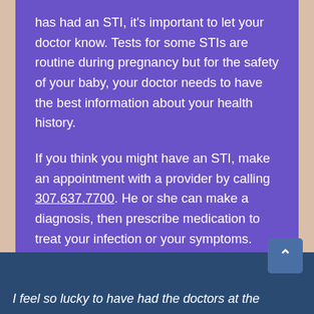has had an STI, it's important to let your doctor know. Tests for some STIs are routine during pregnancy but for the safety of your baby, your doctor needs to have the best information about your health history.
If you think you might have an STI, make an appointment with a provider by calling 307.637.7700. He or she can make a diagnosis, then prescribe medication to treat your infection or your symptoms.
I feel so lucky to have had the doctors at the